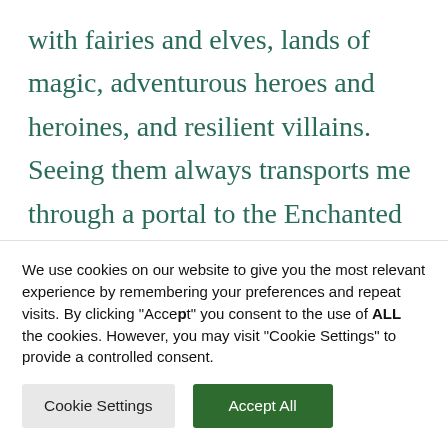with fairies and elves, lands of magic, adventurous heroes and heroines, and resilient villains. Seeing them always transports me through a portal to the Enchanted Forest, or to Baba Yaga's house on chicken legs or
We use cookies on our website to give you the most relevant experience by remembering your preferences and repeat visits. By clicking "Accept" you consent to the use of ALL the cookies. However, you may visit "Cookie Settings" to provide a controlled consent.